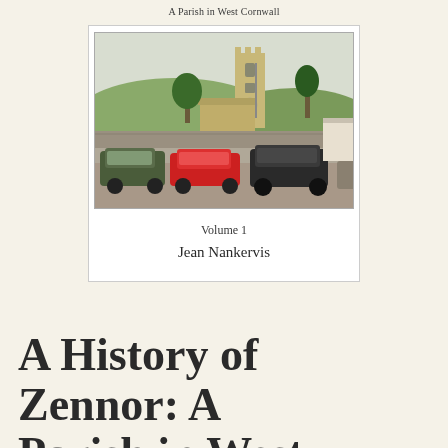A Parish in West Cornwall
[Figure (photo): Photograph of a stone church tower with cars parked in the foreground, rolling green hills in the background, Zennor church, Cornwall]
Volume 1
Jean Nankervis
A History of Zennor: A Parish in West